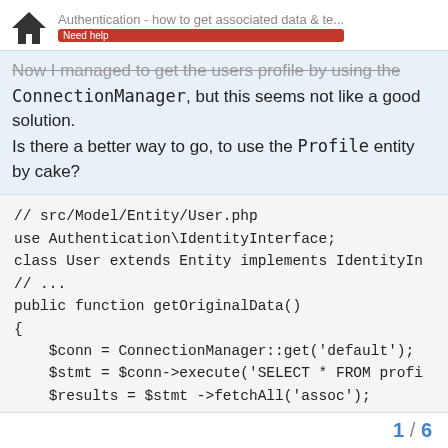Authentication - how to get associated data & te... | Need help
Now I managed to get the users profile by using the ConnectionManager, but this seems not like a good solution. Is there a better way to go, to use the Profile entity by cake?
// src/Model/Entity/User.php
use Authentication\IdentityInterface;
class User extends Entity implements IdentityIn
// ...
public function getOriginalData()
{
    $conn = ConnectionManager::get('default');
    $stmt = $conn->execute('SELECT * FROM profi
    $results = $stmt ->fetchAll('assoc');

    $this->profile = $results[0];
    debug($this); exit;
    return $this;
}
1 / 6